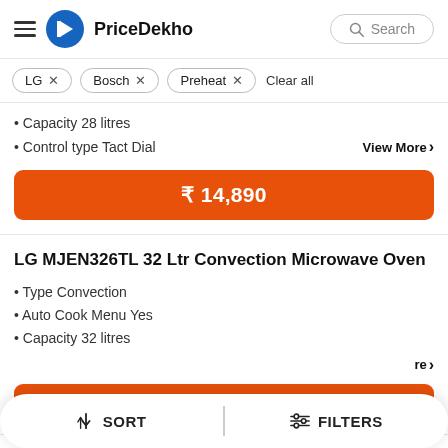PriceDekho
LG ×
Bosch ×
Preheat ×
Clear all
Capacity 28 litres
Control type Tact Dial
View More >
₹ 14,890
LG MJEN326TL 32 Ltr Convection Microwave Oven
Type Convection
Auto Cook Menu Yes
Capacity 32 litres
re >
₹ 20,617
SORT
FILTERS